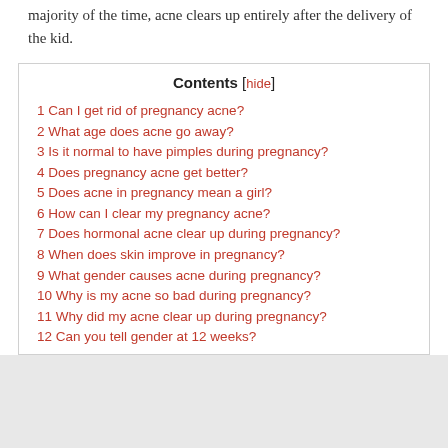majority of the time, acne clears up entirely after the delivery of the kid.
1 Can I get rid of pregnancy acne?
2 What age does acne go away?
3 Is it normal to have pimples during pregnancy?
4 Does pregnancy acne get better?
5 Does acne in pregnancy mean a girl?
6 How can I clear my pregnancy acne?
7 Does hormonal acne clear up during pregnancy?
8 When does skin improve in pregnancy?
9 What gender causes acne during pregnancy?
10 Why is my acne so bad during pregnancy?
11 Why did my acne clear up during pregnancy?
12 Can you tell gender at 12 weeks?